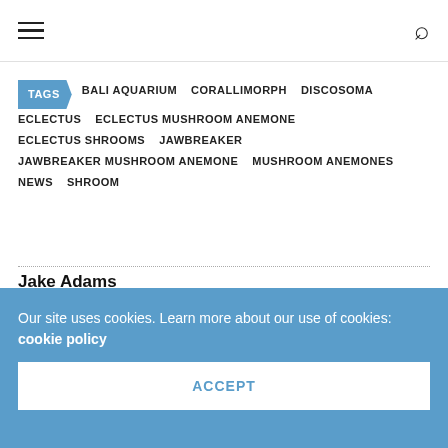≡  🔍
TAGS  BALI AQUARIUM  CORALLIMORPH  DISCOSOMA  ECLECTUS  ECLECTUS MUSHROOM ANEMONE  ECLECTUS SHROOMS  JAWBREAKER  JAWBREAKER MUSHROOM ANEMONE  MUSHROOM ANEMONES  NEWS  SHROOM
Jake Adams
Jake Adams has been an avid marine aquarist since the mid 90s and has worked in the retail side of the marine aquarium trade for more than ten years. He has a
Our site uses cookies. Learn more about our use of cookies: cookie policy
ACCEPT